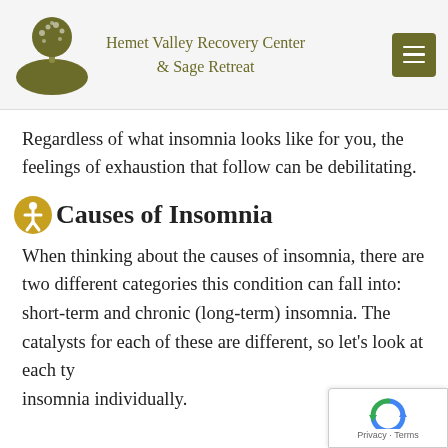Hemet Valley Recovery Center & Sage Retreat
Regardless of what insomnia looks like for you, the feelings of exhaustion that follow can be debilitating.
Causes of Insomnia
When thinking about the causes of insomnia, there are two different categories this condition can fall into: short-term and chronic (long-term) insomnia. The catalysts for each of these are different, so let’s look at each type of insomnia individually.